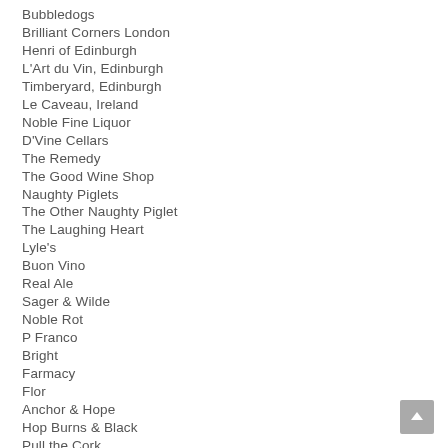Bubbledogs
Brilliant Corners London
Henri of Edinburgh
L'Art du Vin, Edinburgh
Timberyard, Edinburgh
Le Caveau, Ireland
Noble Fine Liquor
D'Vine Cellars
The Remedy
The Good Wine Shop
Naughty Piglets
The Other Naughty Piglet
The Laughing Heart
Lyle's
Buon Vino
Real Ale
Sager & Wilde
Noble Rot
P Franco
Bright
Farmacy
Flor
Anchor & Hope
Hop Burns & Black
Pull the Cork